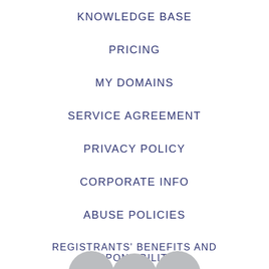KNOWLEDGE BASE
PRICING
MY DOMAINS
SERVICE AGREEMENT
PRIVACY POLICY
CORPORATE INFO
ABUSE POLICIES
REGISTRANTS' BENEFITS AND RESPONSIBILITIES
[Figure (other): Three circular social media or navigation icon buttons partially visible at the bottom of the page]